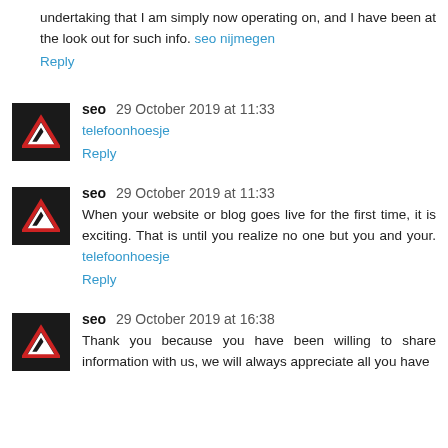undertaking that I am simply now operating on, and I have been at the look out for such info. seo nijmegen
Reply
seo 29 October 2019 at 11:33
telefoonhoesje
Reply
seo 29 October 2019 at 11:33
When your website or blog goes live for the first time, it is exciting. That is until you realize no one but you and your. telefoonhoesje
Reply
seo 29 October 2019 at 16:38
Thank you because you have been willing to share information with us, we will always appreciate all you have